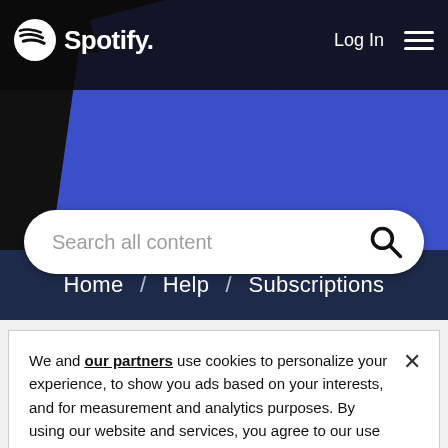[Figure (screenshot): Spotify website header with logo, login link, hamburger menu, blue geometric background shapes, search bar with 'Search all content' placeholder, and breadcrumb navigation showing Home / Help / Subscriptions]
We and our partners use cookies to personalize your experience, to show you ads based on your interests, and for measurement and analytics purposes. By using our website and services, you agree to our use of cookies as described in our Cookie Policy.